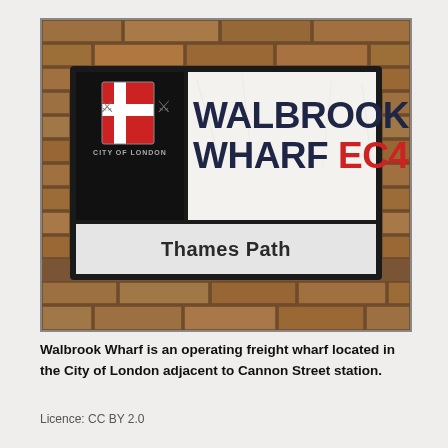[Figure (photo): A City of London street sign reading 'WALBROOK WHARF EC4' with 'Thames Path' below, mounted on a brick wall. The sign includes the City of London coat of arms on the left.]
Walbrook Wharf is an operating freight wharf located in the City of London adjacent to Cannon Street station.
Licence: CC BY 2.0